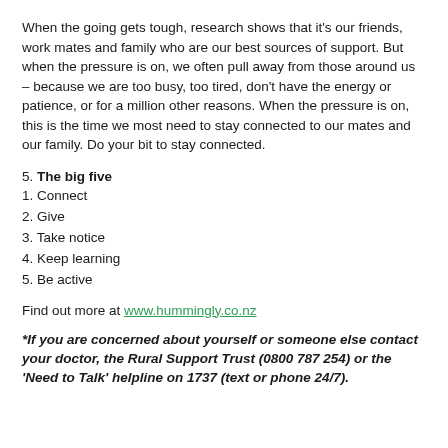When the going gets tough, research shows that it's our friends, work mates and family who are our best sources of support. But when the pressure is on, we often pull away from those around us – because we are too busy, too tired, don't have the energy or patience, or for a million other reasons. When the pressure is on, this is the time we most need to stay connected to our mates and our family. Do your bit to stay connected.
5. The big five
1. Connect
2. Give
3. Take notice
4. Keep learning
5. Be active
Find out more at www.hummingly.co.nz
*If you are concerned about yourself or someone else contact your doctor, the Rural Support Trust (0800 787 254) or the 'Need to Talk' helpline on 1737 (text or phone 24/7).